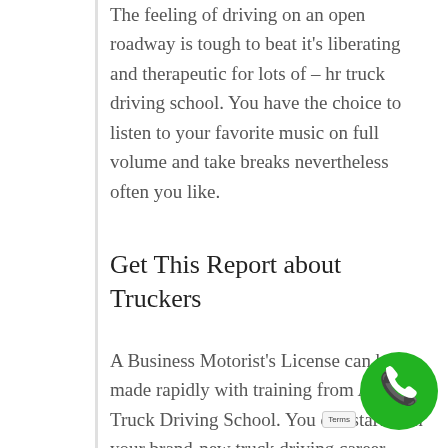The feeling of driving on an open roadway is tough to beat it's liberating and therapeutic for lots of – hr truck driving school. You have the choice to listen to your favorite music on full volume and take breaks nevertheless often you like.
Get This Report about Truckers
A Business Motorist's License can be made rapidly with training from America Truck Driving School. You can start with your brand-new truck driving career sooner than you believe! Motorists are the foundation of American commerce. Whether it is